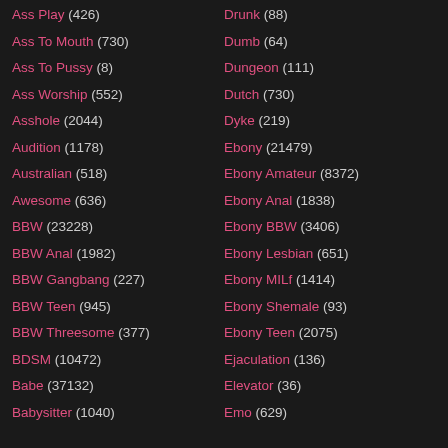Ass Play (426)
Ass To Mouth (730)
Ass To Pussy (8)
Ass Worship (552)
Asshole (2044)
Audition (1178)
Australian (518)
Awesome (636)
BBW (23228)
BBW Anal (1982)
BBW Gangbang (227)
BBW Teen (945)
BBW Threesome (377)
BDSM (10472)
Babe (37132)
Babysitter (1040)
Drunk (88)
Dumb (64)
Dungeon (111)
Dutch (730)
Dyke (219)
Ebony (21479)
Ebony Amateur (8372)
Ebony Anal (1838)
Ebony BBW (3406)
Ebony Lesbian (651)
Ebony MILf (1414)
Ebony Shemale (93)
Ebony Teen (2075)
Ejaculation (136)
Elevator (36)
Emo (629)